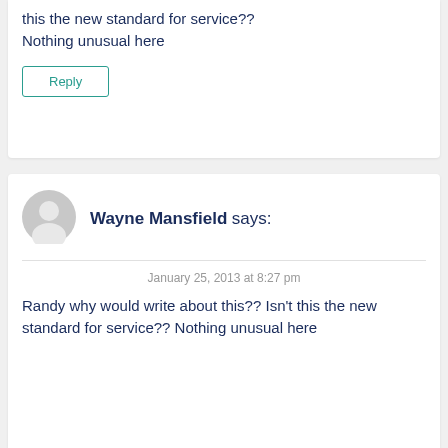this the new standard for service??
Nothing unusual here
Reply
[Figure (illustration): Gray circular avatar/profile icon with silhouette of a person]
Wayne Mansfield says:
January 25, 2013 at 8:27 pm
Randy why would write about this?? Isn't this the new standard for service??
Nothing unusual here